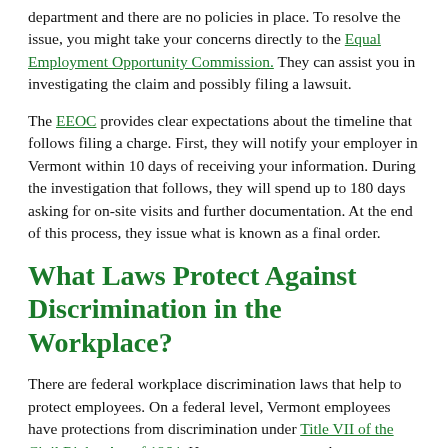department and there are no policies in place. To resolve the issue, you might take your concerns directly to the Equal Employment Opportunity Commission. They can assist you in investigating the claim and possibly filing a lawsuit.
The EEOC provides clear expectations about the timeline that follows filing a charge. First, they will notify your employer in Vermont within 10 days of receiving your information. During the investigation that follows, they will spend up to 180 days asking for on-site visits and further documentation. At the end of this process, they issue what is known as a final order.
What Laws Protect Against Discrimination in the Workplace?
There are federal workplace discrimination laws that help to protect employees. On a federal level, Vermont employees have protections from discrimination under Title VII of the Civil Rights Act of 1964. However, many states have even